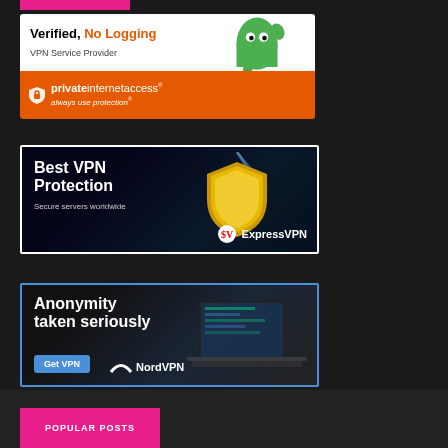[Figure (advertisement): Private Internet Access VPN ad: 'Verified, No Logging VPN Service Provider' with orange and white design and green ghost mascot]
[Figure (advertisement): ExpressVPN ad: 'Best VPN Protection. Secure servers worldwide.' with dark blue background and gold shield]
[Figure (advertisement): NordVPN ad: 'Anonymity taken seriously' with dark background, laptop image, Get VPN button, and NordVPN logo]
POPULAR POSTS